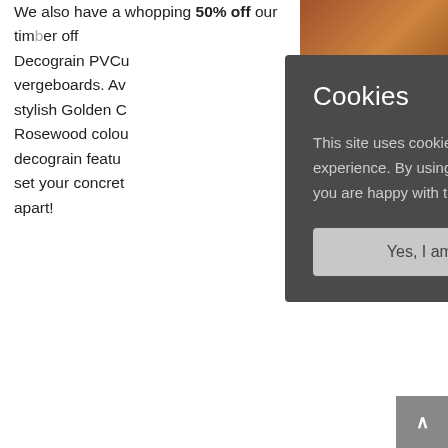We also have a whopping 50% off our timber off... Decograin PVCu... vergeboards. Av... stylish Golden C... Rosewood colou... decograin featu... set your concret... apart!
[Figure (photo): Photo of wood/timber surface at top right]
This site uses cookies to give you a better experience. By using this site you are agreeing you are happy with this. Find out more.
Yes, I am happy with this
So if you are thi... a new concrete s... concrete shed or garden building make sure you talk to your local Lidget Compton agent today. They have all the details of all our current offers and are experts in Lidget Compton concrete garages.
Why not use our handy Agent Finder below to find your local agent!